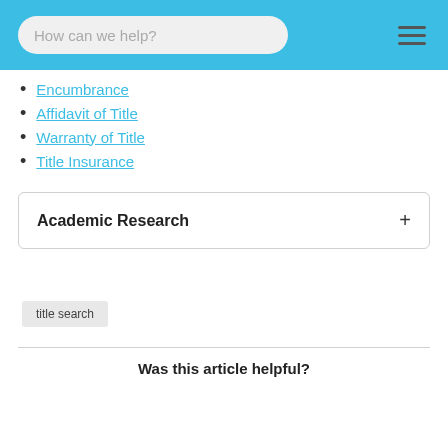How can we help?
Encumbrance
Affidavit of Title
Warranty of Title
Title Insurance
Academic Research
title search
Was this article helpful?